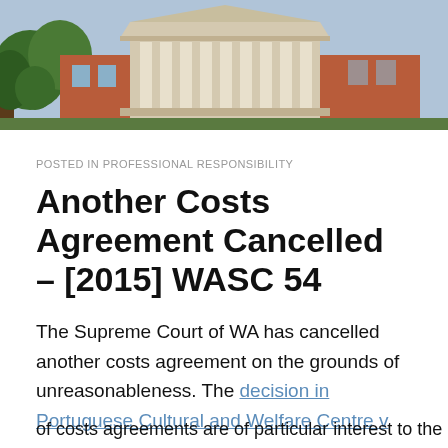[Figure (photo): Photo of a courthouse building with classical columns, brick facade, and trees in the foreground — appears to be a Western Australian Supreme Court building.]
POSTED IN PROFESSIONAL RESPONSIBILITY
Another Costs Agreement Cancelled – [2015] WASC 54
The Supreme Court of WA has cancelled another costs agreement on the grounds of unreasonableness. The decision in Portuguese Cultural and Welfare Centre v…
Privacy & Cookies: This site uses cookies. By continuing to use this website, you agree to their use.
To find out more, including how to control cookies, see here: Cookie Policy
of costs agreements are of particular interest to the